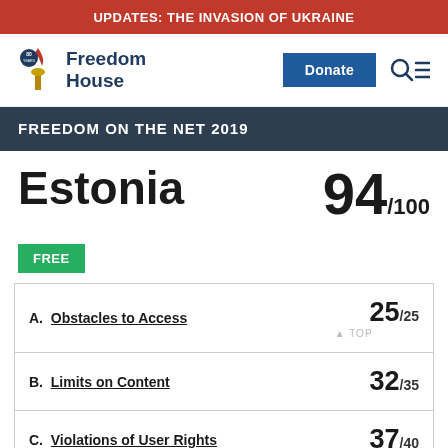UPDATES: THE INVASION OF UKRAINE
[Figure (logo): Freedom House logo with torch icon and '80 years' badge]
FREEDOM ON THE NET 2019
Estonia
94 /100
FREE
| Category | Score |
| --- | --- |
| A. Obstacles to Access | 25/25 |
| B. Limits on Content | 32/35 |
| C. Violations of User Rights | 37/40 |
LAST YEAR'S SCORE & STATUS